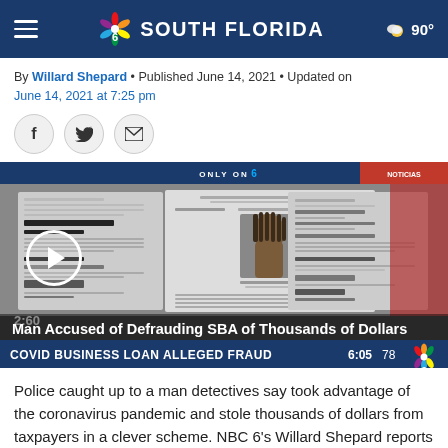NBC 6 SOUTH FLORIDA | 90°
By Willard Shepard • Published June 14, 2021 • Updated on June 14, 2021 at 7:25 pm
[Figure (screenshot): News video thumbnail showing court documents and a mugshot of the accused. Video title: Man Accused of Defrauding SBA of Thousands of Dollars. Lower bar text: COVID BUSINESS LOAN ALLEGED FRAUD. Duration: 2:60.]
Police caught up to a man detectives say took advantage of the coronavirus pandemic and stole thousands of dollars from taxpayers in a clever scheme. NBC 6's Willard Shepard reports